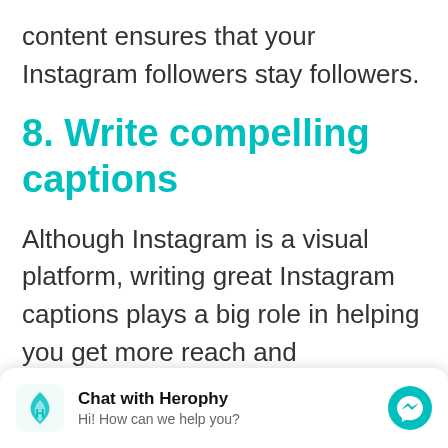content ensures that your Instagram followers stay followers.
8. Write compelling captions
Although Instagram is a visual platform, writing great Instagram captions plays a big role in helping you get more reach and engagement. And, as you’ve already seen, reach and engagement are key factors in attracting free
[Figure (screenshot): Chat with Herophy widget — logo on left, title 'Chat with Herophy', subtitle 'Hi! How can we help you?', messenger icon on right]